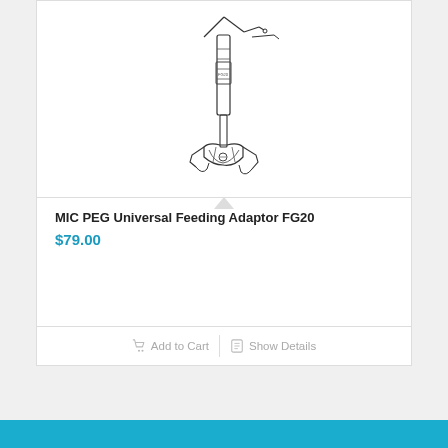[Figure (illustration): Line drawing / technical illustration of a MIC PEG Universal Feeding Adaptor FG20 medical device — a tubular feeding tube adaptor with a clamp mechanism at the bottom and attachment prongs at the top]
MIC PEG Universal Feeding Adaptor FG20
$79.00
Add to Cart
Show Details